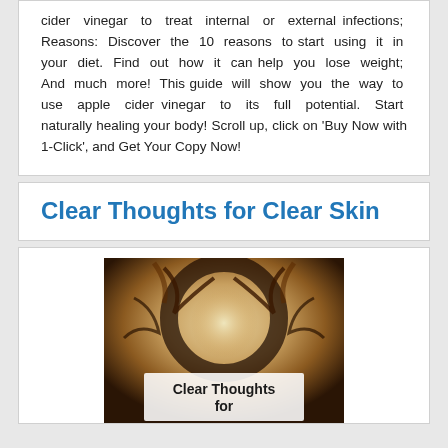cider vinegar to treat internal or external infections; Reasons: Discover the 10 reasons to start using it in your diet. Find out how it can help you lose weight; And much more! This guide will show you the way to use apple cider vinegar to its full potential. Start naturally healing your body! Scroll up, click on 'Buy Now with 1-Click', and Get Your Copy Now!
Clear Thoughts for Clear Skin
[Figure (photo): Book cover image for 'Clear Thoughts for Clear Skin' showing ornate decorative design with text 'Clear Thoughts for' visible at bottom]